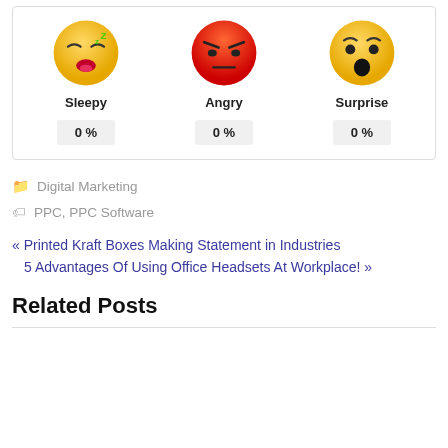[Figure (infographic): Three emoji reaction faces (Sleepy, Angry, Surprise) each with 0% label underneath]
Digital Marketing
PPC, PPC Software
« Printed Kraft Boxes Making Statement in Industries
5 Advantages Of Using Office Headsets At Workplace! »
Related Posts